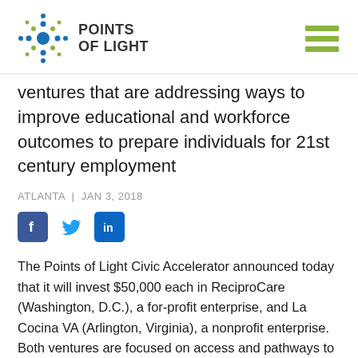[Figure (logo): Points of Light logo with star/dot graphic and bold text reading POINTS OF LIGHT, plus a hamburger menu icon on the right]
ventures that are addressing ways to improve educational and workforce outcomes to prepare individuals for 21st century employment
ATLANTA  |  JAN 3, 2018
[Figure (other): Social media share icons: Facebook (blue square with f), Twitter (bird icon), LinkedIn (blue square with in)]
The Points of Light Civic Accelerator announced today that it will invest $50,000 each in ReciproCare (Washington, D.C.), a for-profit enterprise, and La Cocina VA (Arlington, Virginia), a nonprofit enterprise. Both ventures are focused on access and pathways to employment to help more individuals and families